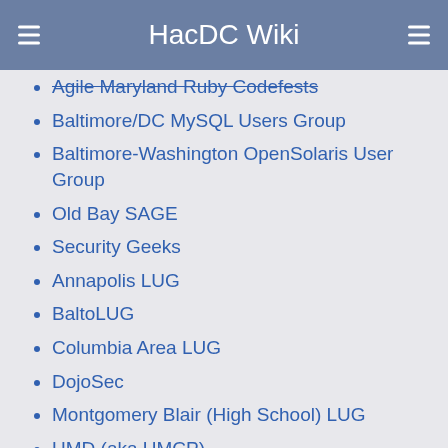HacDC Wiki
Agile Maryland Ruby Codefests
Baltimore/DC MySQL Users Group
Baltimore-Washington OpenSolaris User Group
Old Bay SAGE
Security Geeks
Annapolis LUG
BaltoLUG
Columbia Area LUG
DojoSec
Montgomery Blair (High School) LUG
UMD (aka UMCP)
ACM
LUG
AWC
BITS
UMBC LUG